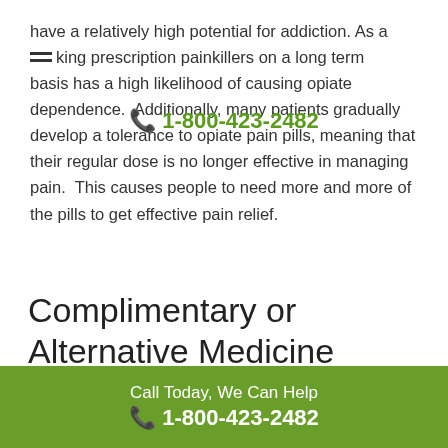several serious disadvantages. First, opiate pain pills have a relatively high potential for addiction. As a result, taking prescription painkillers on a long term basis has a high likelihood of causing opiate dependence. Additionally, many patients gradually develop a tolerance to opiate pain pills, meaning that their regular dose is no longer effective in managing pain. This causes people to need more and more of the pills to get effective pain relief.
[Figure (other): Green phone icon with phone number 1-800-423-2482 overlaid on text]
Complimentary or Alternative Medicine Approaches to Managing Chronic Pain
Call Today, We Can Help
📞 1-800-423-2482